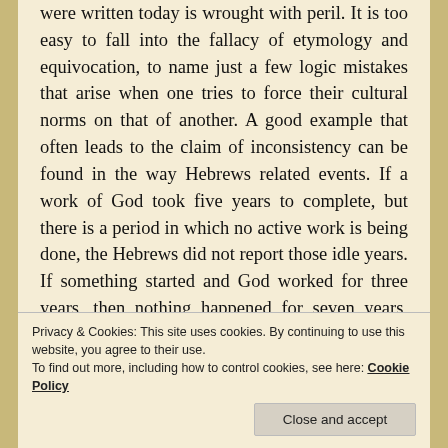were written today is wrought with peril. It is too easy to fall into the fallacy of etymology and equivocation, to name just a few logic mistakes that arise when one tries to force their cultural norms on that of another. A good example that often leads to the claim of inconsistency can be found in the way Hebrews related events. If a work of God took five years to complete, but there is a period in which no active work is being done, the Hebrews did not report those idle years. If something started and God worked for three years, then nothing happened for seven years, and the work finished in two years after that idle period, Scripture is very
Privacy & Cookies: This site uses cookies. By continuing to use this website, you agree to their use.
To find out more, including how to control cookies, see here: Cookie Policy
Close and accept